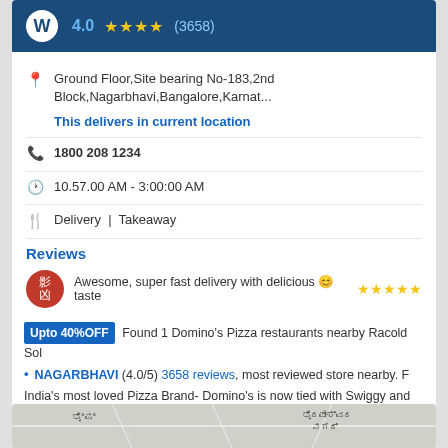[Figure (screenshot): Restaurant app card with blue header bar showing 4.0 star rating (3658 reviews), location info, phone number, hours, delivery/takeaway options, and reviews section with action buttons CALL, NAVIGATE, ORDER]
Ground Floor,Site bearing No-183,2nd Block,Nagarbhavi,Bangalore,Karnat...
This delivers in current location
1800 208 1234
10.57.00 AM - 3:00:00 AM
Delivery | Takeaway
Reviews
Awesome, super fast delivery with delicious 😊 taste
Upto 40%OFF Found 1 Domino's Pizza restaurants nearby Racold Sol
NAGARBHAVI (4.0/5) 3658 reviews, most reviewed store nearby. F
India's most loved Pizza Brand- Domino's is now tied with Swiggy and
[Figure (map): Partial map thumbnail showing Kannada text ಭೈರವೇಶ್ವರ ನಗರ್]